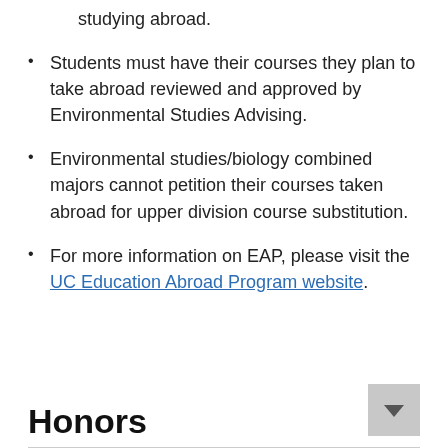studying abroad.
Students must have their courses they plan to take abroad reviewed and approved by Environmental Studies Advising.
Environmental studies/biology combined majors cannot petition their courses taken abroad for upper division course substitution.
For more information on EAP, please visit the UC Education Abroad Program website.
Honors